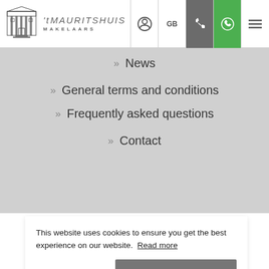't MAURITSHUIS MAKELAARS — header with logo, GB, phone, WhatsApp, menu icons
>> News
>> General terms and conditions
>> Frequently asked questions
>> Contact
This website uses cookies to ensure you get the best experience on our website. Read more
Got it!